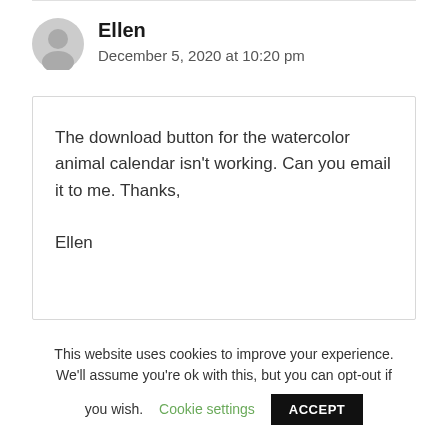Ellen
December 5, 2020 at 10:20 pm
The download button for the watercolor animal calendar isn't working. Can you email it to me. Thanks,
Ellen
This website uses cookies to improve your experience. We'll assume you're ok with this, but you can opt-out if you wish. Cookie settings ACCEPT